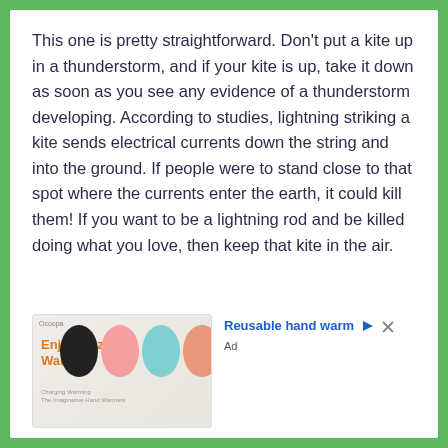This one is pretty straightforward. Don't put a kite up in a thunderstorm, and if your kite is up, take it down as soon as you see any evidence of a thunderstorm developing. According to studies, lightning striking a kite sends electrical currents down the string and into the ground. If people were to stand close to that spot where the currents enter the earth, it could kill them! If you want to be a lightning rod and be killed doing what you love, then keep that kite in the air.
[Figure (other): Advertisement for reusable hand warmers (Ocoopa brand) showing colorful oval-shaped hand warmers in black, pink, teal, and orange colors with text 'Enjoy Cozy Warmth']